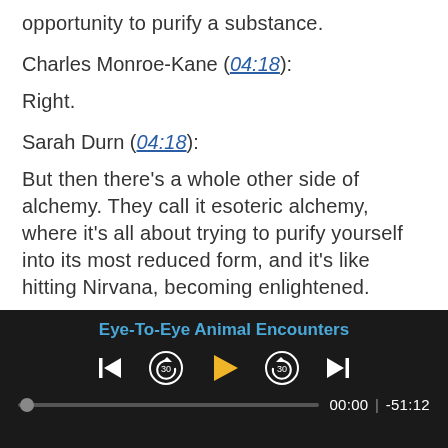opportunity to purify a substance.
Charles Monroe-Kane (04:18):
Right.
Sarah Durn (04:18):
But then there’s a whole other side of alchemy. They call it esoteric alchemy, where it’s all about trying to purify yourself into its most reduced form, and it’s like hitting Nirvana, becoming enlightened.
Charles Monroe-Kane (04:35):
[Figure (screenshot): Audio player UI with title 'Eye-To-Eye Animal Encounters', playback controls (skip-back, rewind 30s, play, forward 30s, skip-forward), a progress bar showing 00:00 | -51:12]